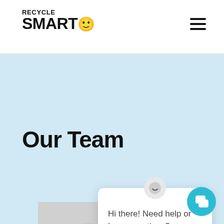RECYCLE SMART. [logo] [hamburger menu]
Our Team
[Figure (photo): Black and white photo of a bald man wearing glasses, cropped at the neck, positioned at the bottom center-left of the page.]
Hi there! Need help or have questions?